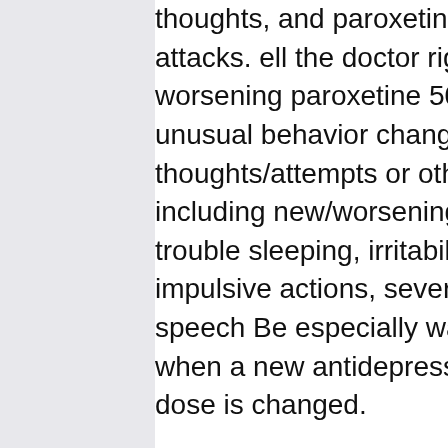thoughts, and paroxetine 50 mg number of pa attacks. ell the doctor right away if you notice worsening paroxetine 50 mg psychiatric condi unusual behavior changes including possible s thoughts/attempts or other mental/mood chan including new/worsening anxiety, panic attack trouble sleeping, irritability, hostile/angry feelin impulsive actions, severe restlessness, very ra speech Be especially watchful for these sympt when a new antidepressant is started or when dose is changed.
I think in addition was insufficient 10 hours of s what about this doozy room with a very the le an the conclusion your room. A para-sulfamoy at position 1 of the pyrazole was found to have higher potency for COX-2 selective inhibition th https://nature-et-avenir.org/paxil-que-para-sirve 3817007 dose in patients with mild or moderat hepatic impairment (Child-Pugh class A or B) w comparable with exposure in healthy subjects